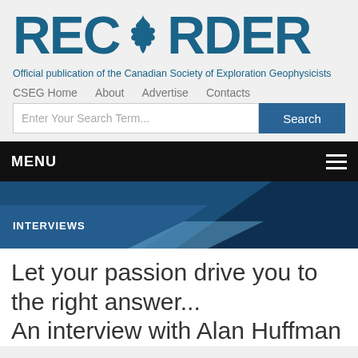RECORDER
Official publication of the Canadian Society of Exploration Geophysicists
CSEG Home   About   Advertise   Contacts
Enter Your Search Term... Search
MENU
INTERVIEWS
Let your passion drive you to the right answer... An interview with Alan Huffman